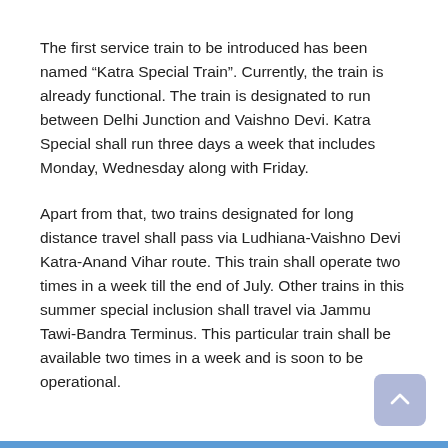The first service train to be introduced has been named “Katra Special Train”. Currently, the train is already functional. The train is designated to run between Delhi Junction and Vaishno Devi. Katra Special shall run three days a week that includes Monday, Wednesday along with Friday.
Apart from that, two trains designated for long distance travel shall pass via Ludhiana-Vaishno Devi Katra-Anand Vihar route. This train shall operate two times in a week till the end of July. Other trains in this summer special inclusion shall travel via Jammu Tawi-Bandra Terminus. This particular train shall be available two times in a week and is soon to be operational.